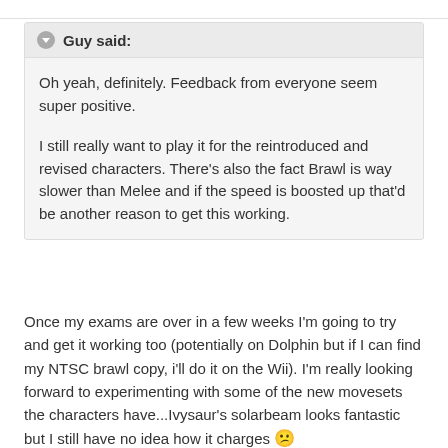Guy said: Oh yeah, definitely. Feedback from everyone seem super positive. I still really want to play it for the reintroduced and revised characters. There's also the fact Brawl is way slower than Melee and if the speed is boosted up that'd be another reason to get this working.
Once my exams are over in a few weeks I'm going to try and get it working too (potentially on Dolphin but if I can find my NTSC brawl copy, i'll do it on the Wii). I'm really looking forward to experimenting with some of the new movesets the characters have...Ivysaur's solarbeam looks fantastic but I still have no idea how it charges 😕